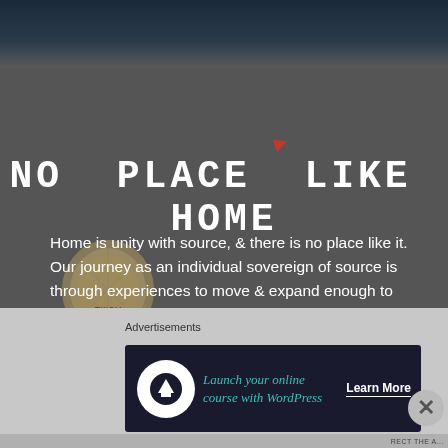[Figure (photo): Dark teal/blue atmospheric top image strip, rain or blur effect]
NO PLACE LIKE HOME
Home is unity with source, & there is no place like it. Our journey as an individual sovereign of source is through experiences to move & expand enough to move through all the dimensions .till we reach what many determine as Zero point.. Home?.. Upon reaching home, we become unity once again with everything, bringing [...]
Advertisements
[Figure (screenshot): Advertisement banner: Launch your online course with WordPress — Learn More]